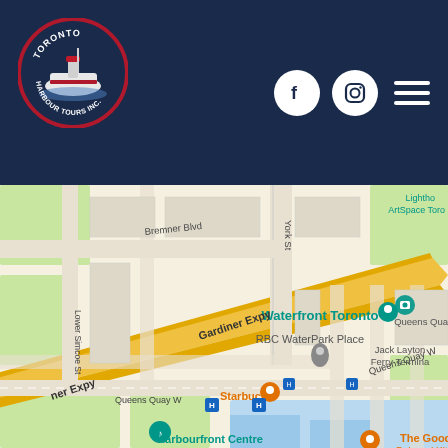Toronto Harbour Tours Inc. — navigation header with logo, Facebook icon, Instagram icon, and menu
[Figure (map): Google Maps screenshot showing the Toronto waterfront area near Queens Quay W, with labels for Bremner Blvd, York St, Lower Simcoe St, Gardiner Expy, Queens Quay W, Waterfront Toronto, RBC WaterPark Place, Jack Layton Ferry Terminal, Harbourfront Centre, Lighthouse ArtSpace Toronto, Starbucks, and The Goodman Pub and Kitchen.]